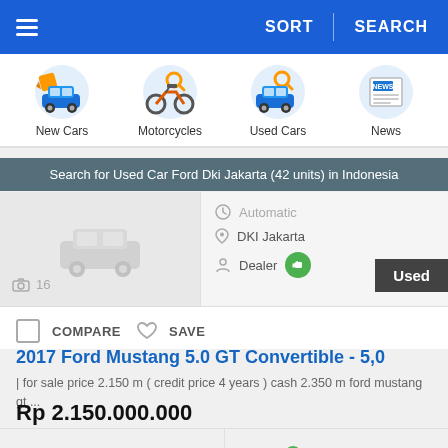≡  SORT  |  SEARCH
[Figure (screenshot): Category icons row with New Cars, Motorcycles, Used Cars, News]
Search for Used Car Ford Dki Jakarta (42 units) in Indonesia
[Figure (photo): Partially visible car listing with car thumbnail, Automatic, DKI Jakarta, Dealer badge, Used tag, photo count 16]
COMPARE  ♡ SAVE
2017 Ford Mustang 5.0 GT Convertible - 5,0
| for sale price 2.150 m ( credit price 4 years ) cash 2.350 m ford mustang gt ...
Rp 2.150.000.000
Contact  WhatsApp